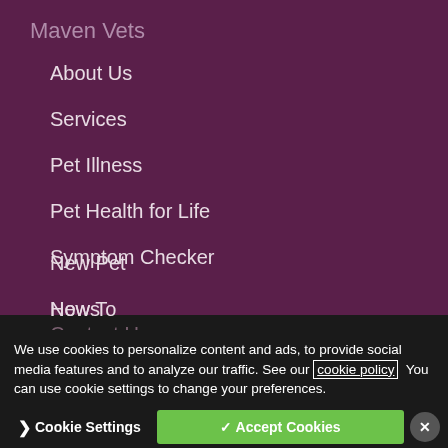Maven Vets
About Us
Services
Pet Illness
Pet Health for Life
Symptom Checker
New Pet
How To
News
Contact Us
Register My Pet
Emergencies
We use cookies to personalize content and ads, to provide social media features and to analyze our traffic. See our cookie policy. You can use cookie settings to change your preferences.
Cookie Settings
✓ Accept Cookies